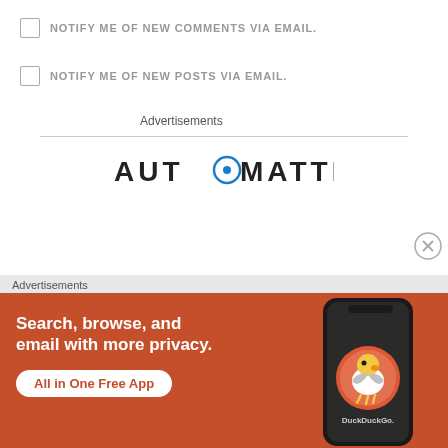NOTIFY ME OF NEW COMMENTS VIA EMAIL.
NOTIFY ME OF NEW POSTS VIA EMAIL.
Advertisements
[Figure (logo): Automattic logo in dark text with a circle-O in the word AUTOMATTIC]
Advertisements
[Figure (illustration): DuckDuckGo advertisement banner: orange background with white bold text 'Search, browse, and email with more privacy.' and 'All in One Free App' button, plus a phone showing the DuckDuckGo app logo]